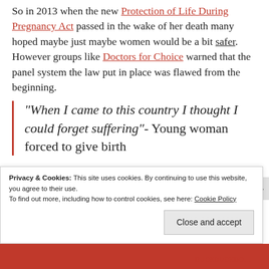So in 2013 when the new Protection of Life During Pregnancy Act passed in the wake of her death many hoped maybe just maybe women would be a bit safer. However groups like Doctors for Choice warned that the panel system the law put in place was flawed from the beginning.
“When I came to this country I thought I could forget suffering”- Young woman forced to give birth
The woman, a teen who is an asylum seeker from an unnamed country experiencing conflict according to
Privacy & Cookies: This site uses cookies. By continuing to use this website, you agree to their use. To find out more, including how to control cookies, see here: Cookie Policy
Close and accept